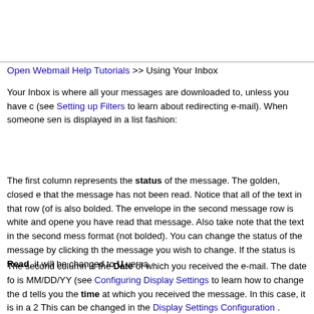Open Webmail Help Tutorials >> Using Your Inbox
Your Inbox is where all your messages are downloaded to, unless you have (see Setting up Filters to learn about redirecting e-mail). When someone sen is displayed in a list fashion:
The first column represents the status of the message. The golden, closed e that the message has not been read. Notice that all of the text in that row (of is also bolded. The envelope in the second message row is white and opene you have read that message. Also take note that the text in the second mess format (not bolded). You can change the status of the message by clicking th the message you wish to change. If the status is Read, it will be changed to U versa.
The second column is the Date of which you received the e-mail. The date fo is MM/DD/YY (see Configuring Display Settings to learn how to change the d tells you the time at which you received the message. In this case, it is in a 2 This can be changed in the Display Settings Configuration .